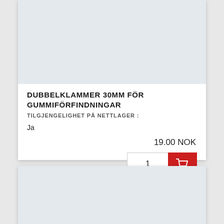[Figure (other): Product image placeholder area with light grey background]
DUBBELKLAMMER 30MM FÖR GUMMIFÖRFINDNINGAR
TILGJENGELIGHET PÅ NETTLAGER :
Ja
19.00 NOK
[Figure (other): Second product card image area with light grey background (partially visible)]